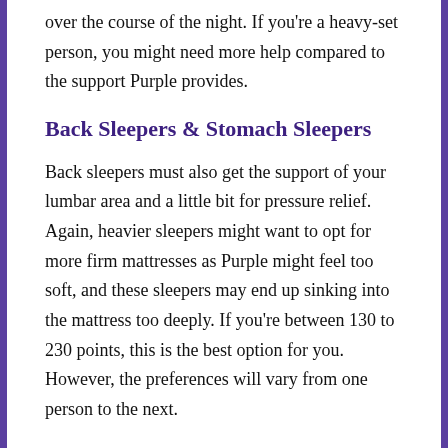over the course of the night. If you're a heavy-set person, you might need more help compared to the support Purple provides.
Back Sleepers & Stomach Sleepers
Back sleepers must also get the support of your lumbar area and a little bit for pressure relief. Again, heavier sleepers might want to opt for more firm mattresses as Purple might feel too soft, and these sleepers may end up sinking into the mattress too deeply. If you're between 130 to 230 points, this is the best option for you. However, the preferences will vary from one person to the next.
The support issue is ever more common with stomach sleepers. They'll definitely require a much firmer support base to prevent the accumulation of pressure points which can cause strain to necks, shoulders, or lower backs. Being a stomach sleeper who weighs morewith a weight of more than